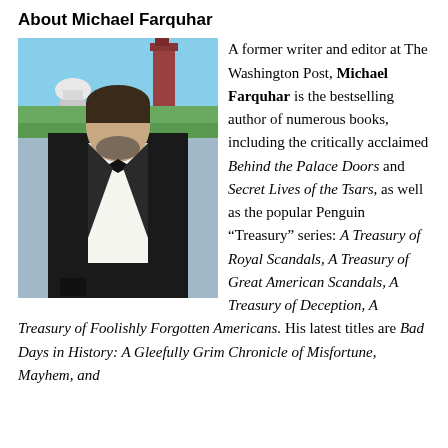About Michael Farquhar
[Figure (photo): Portrait photo of Michael Farquhar in a tuxedo with bow tie, standing outdoors in front of the US Capitol building and a red-brick tower, with trees and a blue sky in the background.]
A former writer and editor at The Washington Post, Michael Farquhar is the bestselling author of numerous books, including the critically acclaimed Behind the Palace Doors and Secret Lives of the Tsars, as well as the popular Penguin “Treasury” series: A Treasury of Royal Scandals, A Treasury of Great American Scandals, A Treasury of Deception, A Treasury of Foolishly Forgotten Americans. His latest titles are Bad Days in History: A Gleefully Grim Chronicle of Misfortune, Mayhem, and